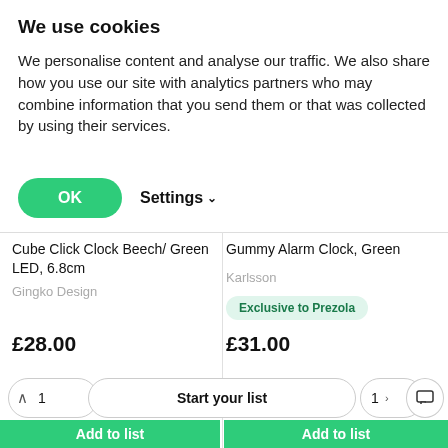We use cookies
We personalise content and analyse our traffic. We also share how you use our site with analytics partners who may combine information that you send them or that was collected by using their services.
OK
Settings
Cube Click Clock Beech/ Green LED, 6.8cm
Gingko Design
Gummy Alarm Clock, Green
Karlsson
Exclusive to Prezola
£28.00
£31.00
Start your list
Add to list
Add to list